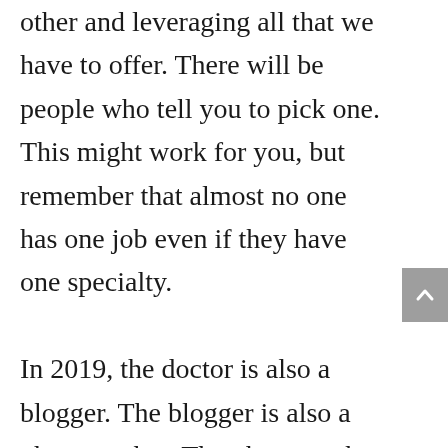other and leveraging all that we have to offer. There will be people who tell you to pick one. This might work for you, but remember that almost no one has one job even if they have one specialty.

In 2019, the doctor is also a blogger. The blogger is also a photographer. The photographer